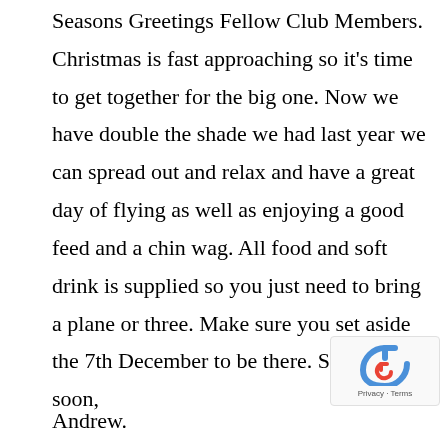Seasons Greetings Fellow Club Members. Christmas is fast approaching so it's time to get together for the big one. Now we have double the shade we had last year we can spread out and relax and have a great day of flying as well as enjoying a good feed and a chin wag. All food and soft drink is supplied so you just need to bring a plane or three. Make sure you set aside the 7th December to be there. See you soon,
Andrew.